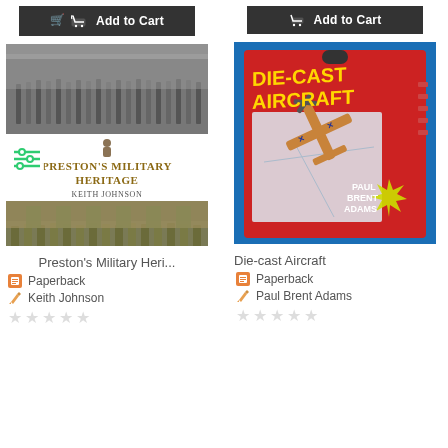[Figure (screenshot): Add to Cart button (left product)]
[Figure (screenshot): Add to Cart button (right product)]
[Figure (photo): Book cover: Preston's Military Heritage by Keith Johnson, showing soldiers marching]
[Figure (photo): Product cover: Die-cast Aircraft by Paul Brent Adams, showing toy aircraft in packaging]
Preston's Military Heri...
Die-cast Aircraft
Paperback
Paperback
Keith Johnson
Paul Brent Adams
[Figure (other): Five empty star rating (left product)]
[Figure (other): Five empty star rating (right product)]